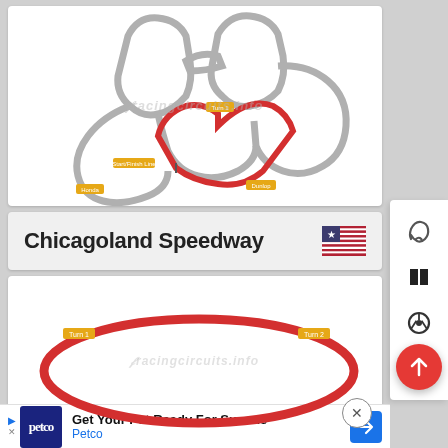[Figure (illustration): Racing circuit map showing Chicagoland Speedway track layout with labeled sections: Turn 1, Start/Finish Line, Honda, Dunlop. Gray outer track outline and red inner oval highlight. Watermark: racingcircuits.info]
Chicagoland Speedway
[Figure (illustration): Oval track map of Chicagoland Speedway showing Turn 1 and Turn 2 labels, drawn in red. Watermark: racingcircuits.info]
Get Your Pet Ready For Summe Petco